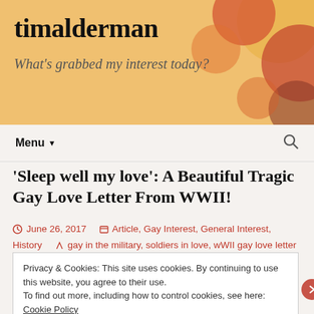timalderman — What's grabbed my interest today?
'Sleep well my love': A Beautiful Tragic Gay Love Letter From WWII!
June 26, 2017   Article, Gay Interest, General Interest, History   gay in the military, soldiers in love, wWII gay love letter
Privacy & Cookies: This site uses cookies. By continuing to use this website, you agree to their use.
To find out more, including how to control cookies, see here: Cookie Policy
Close and accept